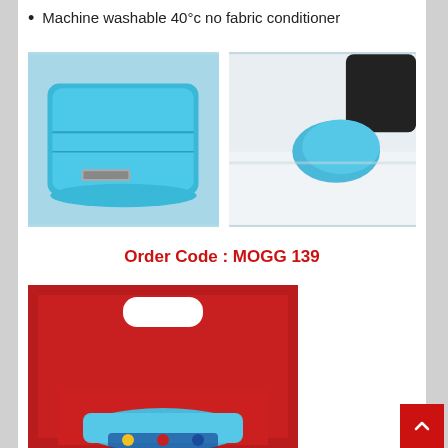Machine washable 40°c no fabric conditioner
[Figure (photo): Blue microfiber cloth folded neatly]
[Figure (photo): Hand in blue glove wiping a white car surface with blue microfiber cloth]
Order Code : MOGG 139
[Figure (photo): Product packaging showing red background with blue microfiber cloth and logo at bottom]